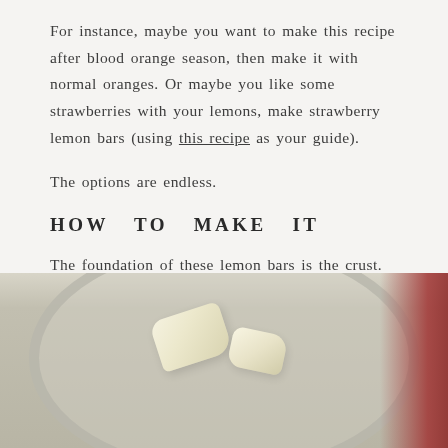For instance, maybe you want to make this recipe after blood orange season, then make it with normal oranges. Or maybe you like some strawberries with your lemons, make strawberry lemon bars (using this recipe as your guide).
The options are endless.
HOW TO MAKE IT
The foundation of these lemon bars is the crust. What is great about this crust is that it's a mix between a pie crust and a shortbread. Oh, and you can make it in a food processor!
[Figure (photo): Photo of butter chunks inside a food processor bowl, with a red object visible in the upper right corner]